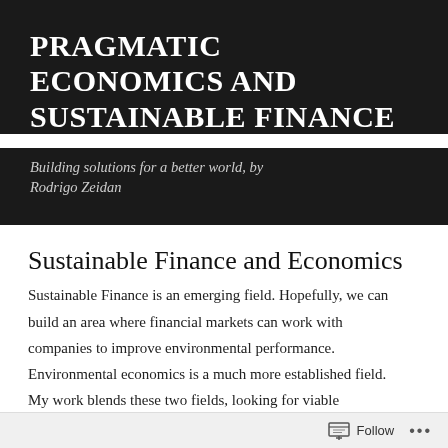PRAGMATIC ECONOMICS AND SUSTAINABLE FINANCE
Building solutions for a better world, by Rodrigo Zeidan
Sustainable Finance and Economics
Sustainable Finance is an emerging field. Hopefully, we can build an area where financial markets can work with companies to improve environmental performance. Environmental economics is a much more established field. My work blends these two fields, looking for viable
Follow